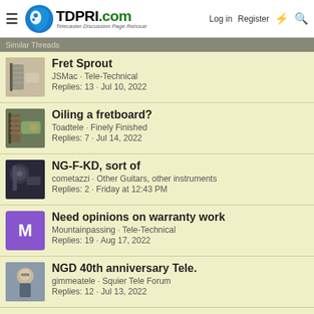TDPRI.com Telecaster Discussion Page Reissue — Log in  Register
Similar Threads
Fret Sprout — JSMac · Tele-Technical — Replies: 13 · Jul 10, 2022
Oiling a fretboard? — Toadtele · Finely Finished — Replies: 7 · Jul 14, 2022
NG-F-KD, sort of — cometazzi · Other Guitars, other instruments — Replies: 2 · Friday at 12:43 PM
Need opinions on warranty work — Mountainpassing · Tele-Technical — Replies: 19 · Aug 17, 2022
NGD 40th anniversary Tele. — gimmeatele · Squier Tele Forum — Replies: 12 · Jul 13, 2022